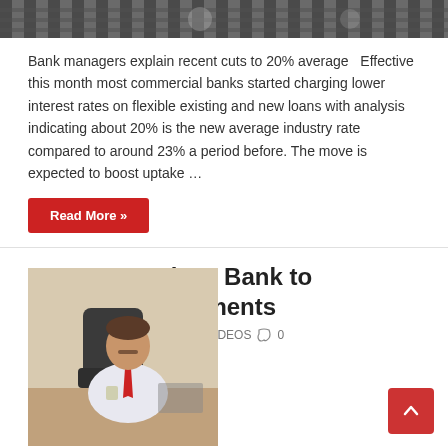[Figure (photo): Top banner image showing building exterior with grid/fence pattern]
Bank managers explain recent cuts to 20% average   Effective this month most commercial banks started charging lower interest rates on flexible existing and new loans with analysis indicating about 20% is the new average industry rate compared to around 23% a period before. The move is expected to boost uptake …
Read More »
VIDEO: Barclays Bank to prioritize investments
March 2, 2017   Business, VIDEOS   0
[Figure (photo): Man in white shirt and red tie sitting at a desk, looking down at documents, in an office environment]